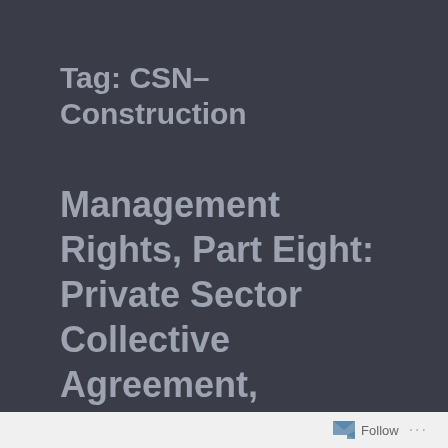Tag: CSN–Construction
Management Rights, Part Eight: Private Sector Collective Agreement, Quebec
Here is another clause from a collective agreement concerning management rights, this time from the
Follow